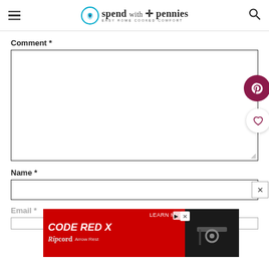spend with pennies — EASY HOME COOKED COMFORT
Comment *
[Comment textarea field]
Name *
[Name input field]
Email *
[Email input field]
[Figure (screenshot): Advertisement banner for CODE RED X Ripcord Arrow Rest product]